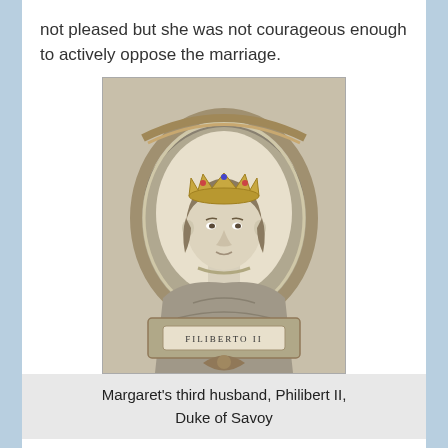not pleased but she was not courageous enough to actively oppose the marriage.
[Figure (illustration): Engraved portrait of Philibert II, Duke of Savoy, shown in an ornate oval frame with a crown on his head, wearing royal robes. Text 'FILIBERTO II' appears on a banner at the bottom of the frame.]
Margaret's third husband, Philibert II, Duke of Savoy